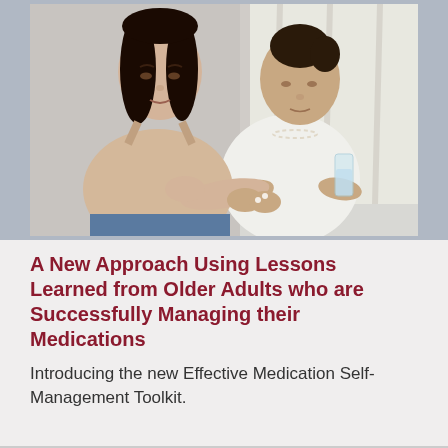[Figure (photo): A younger Asian woman helping an older Asian woman with medication. The older woman holds a glass of water while the younger woman places pills in her hand. They are seated indoors with curtains in the background.]
A New Approach Using Lessons Learned from Older Adults who are Successfully Managing their Medications
Introducing the new Effective Medication Self-Management Toolkit.